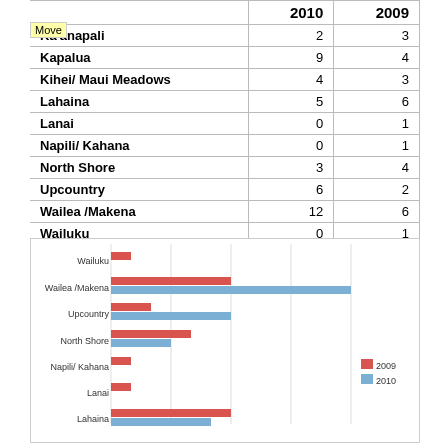|  | 2010 | 2009 |
| --- | --- | --- |
| Ka'anapali | 2 | 3 |
| Kapalua | 9 | 4 |
| Kihei/ Maui Meadows | 4 | 3 |
| Lahaina | 5 | 6 |
| Lanai | 0 | 1 |
| Napili/ Kahana | 0 | 1 |
| North Shore | 3 | 4 |
| Upcountry | 6 | 2 |
| Wailea /Makena | 12 | 6 |
| Wailuku | 0 | 1 |
[Figure (grouped-bar-chart): ]